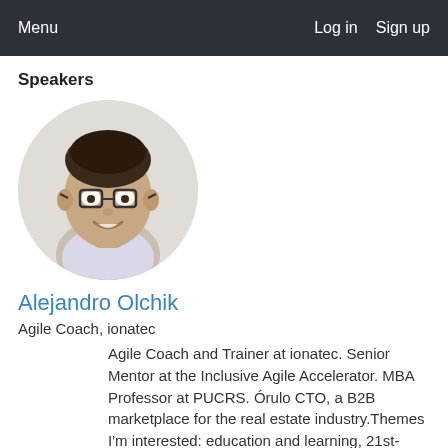Menu   Log in   Sign up
Speakers
[Figure (photo): Circular profile photo of Alejandro Olchik, a man with glasses smiling, wearing a light shirt]
Alejandro Olchik
Agile Coach, ionatec
Agile Coach and Trainer at ionatec. Senior Mentor at the Inclusive Agile Accelerator. MBA Professor at PUCRS. Órulo CTO, a B2B marketplace for the real estate industry.Themes I'm interested: education and learning, 21st-century management practices and startups.